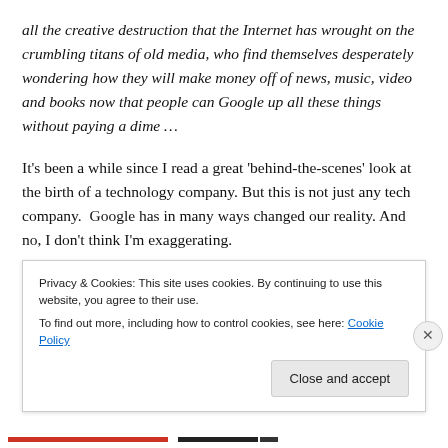all the creative destruction that the Internet has wrought on the crumbling titans of old media, who find themselves desperately wondering how they will make money off of news, music, video and books now that people can Google up all these things without paying a dime …
It's been a while since I read a great 'behind-the-scenes' look at the birth of a technology company. But this is not just any tech company.  Google has in many ways changed our reality. And no, I don't think I'm exaggerating.
Consider for a moment what Google has given us...
Privacy & Cookies: This site uses cookies. By continuing to use this website, you agree to their use.
To find out more, including how to control cookies, see here: Cookie Policy